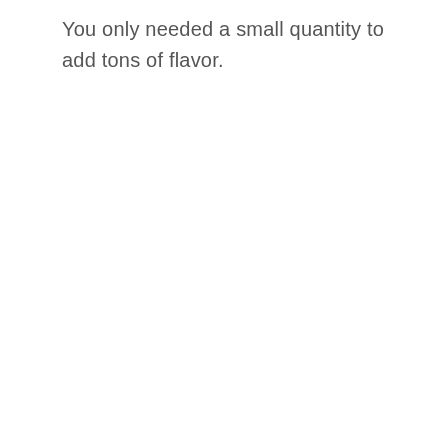You only needed a small quantity to add tons of flavor.